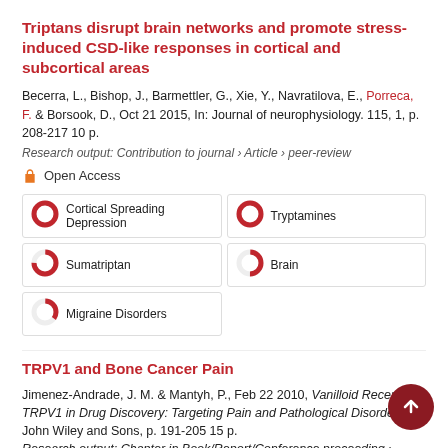Triptans disrupt brain networks and promote stress-induced CSD-like responses in cortical and subcortical areas
Becerra, L., Bishop, J., Barmettler, G., Xie, Y., Navratilova, E., Porreca, F. & Borsook, D., Oct 21 2015, In: Journal of neurophysiology. 115, 1, p. 208-217 10 p.
Research output: Contribution to journal › Article › peer-review
Open Access
Cortical Spreading Depression
Tryptamines
Sumatriptan
Brain
Migraine Disorders
TRPV1 and Bone Cancer Pain
Jimenez-Andrade, J. M. & Mantyh, P., Feb 22 2010, Vanilloid Receptor TRPV1 in Drug Discovery: Targeting Pain and Pathological Disorders. John Wiley and Sons, p. 191-205 15 p.
Research output: Chapter in Book/Report/Conference proceeding ›